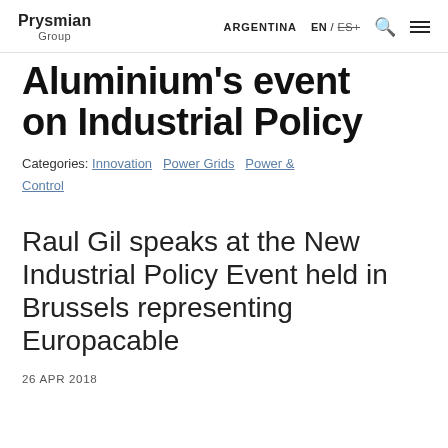Prysmian Group | ARGENTINA | EN / ES+
Aluminium's event on Industrial Policy
Categories: Innovation Power Grids Power & Control
Raul Gil speaks at the New Industrial Policy Event held in Brussels representing Europacable
26 APR 2018